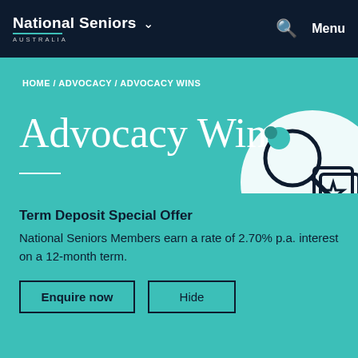National Seniors Australia — Menu
HOME / ADVOCACY / ADVOCACY WINS
Advocacy Wins
National Seniors has had a number of significant advocacy wins. With your help, we can achieve
[Figure (illustration): Circular decorative illustration with magnifying glass, star and documents icon on teal background]
Term Deposit Special Offer
National Seniors Members earn a rate of 2.70% p.a. interest on a 12-month term.
Enquire now   Hide